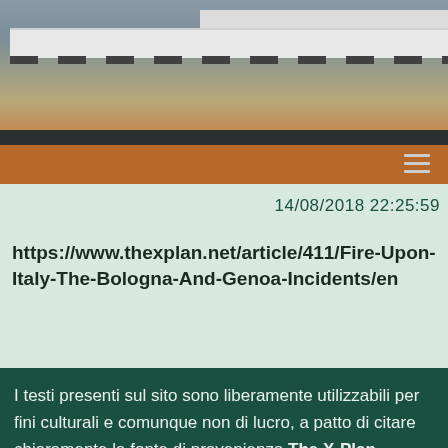[Figure (photo): Exterior photograph of a building rooftop/facade taken from below in overcast conditions, showing white roof panels, dark horizontal dashes/vents, a dark strip, and orange/terracotta lower wall section. A hamburger menu icon is visible in the upper right area of the image.]
14/08/2018 22:25:59
https://www.thexplan.net/article/411/Fire-Upon-Italy-The-Bologna-And-Genoa-Incidents/en
I testi presenti sul sito sono liberamente utilizzabili per fini culturali e comunque non di lucro, a patto di citare chiaramente la fonte di provenienza The X-Plan